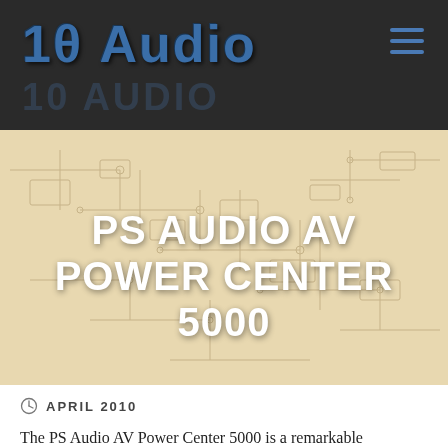10 Audio
PS AUDIO AV POWER CENTER 5000
APRIL 2010
The PS Audio AV Power Center 5000 is a remarkable device with an extensive list of features that places it